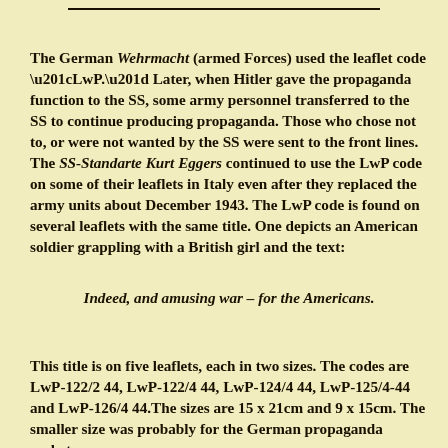The German Wehrmacht (armed Forces) used the leaflet code “LwP.” Later, when Hitler gave the propaganda function to the SS, some army personnel transferred to the SS to continue producing propaganda. Those who chose not to, or were not wanted by the SS were sent to the front lines. The SS-Standarte Kurt Eggers continued to use the LwP code on some of their leaflets in Italy even after they replaced the army units about December 1943. The LwP code is found on several leaflets with the same title. One depicts an American soldier grappling with a British girl and the text:
Indeed, and amusing war – for the Americans.
This title is on five leaflets, each in two sizes. The codes are LwP-122/2 44, LwP-122/4 44, LwP-124/4 44, LwP-125/4-44 and LwP-126/4 44.The sizes are 15 x 21cm and 9 x 15cm. The smaller size was probably for the German propaganda rocket